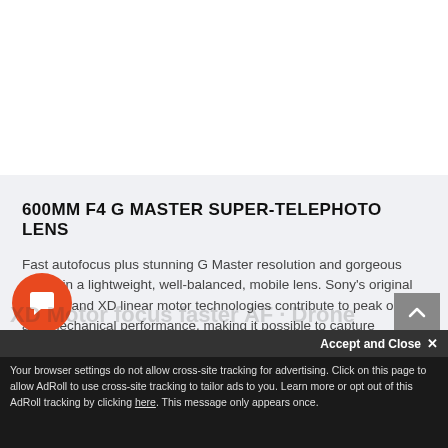600MM F4 G MASTER SUPER-TELEPHOTO LENS
Fast autofocus plus stunning G Master resolution and gorgeous bokeh in a lightweight, well-balanced, mobile lens. Sony's original XA lens and XD linear motor technologies contribute to peak optical and mechanical performance, making it possible to capture dynamic, eye-catching images from afar. Ideal for sports, news, and nature photography.
Accept and Close ×
Your browser settings do not allow cross-site tracking for advertising. Click on this page to allow AdRoll to use cross-site tracking to tailor ads to you. Learn more or opt out of this AdRoll tracking by clicking here. This message only appears once.